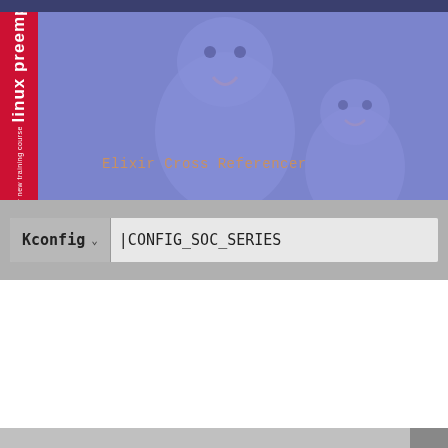[Figure (screenshot): Header banner with dark blue background, red vertical sidebar tab labeled 'linux preempt-rt / Check our new training course', and blue/purple area with two cartoon Tux penguin figures and the text 'Elixir Cross Referencer' in monospace orange font]
Kconfig
CONFIG_SOC_SERIES